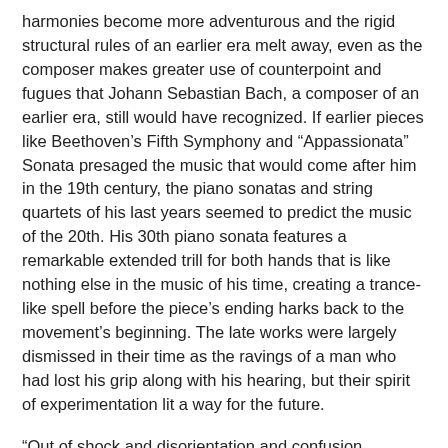harmonies become more adventurous and the rigid structural rules of an earlier era melt away, even as the composer makes greater use of counterpoint and fugues that Johann Sebastian Bach, a composer of an earlier era, still would have recognized. If earlier pieces like Beethoven's Fifth Symphony and “Appassionata” Sonata presaged the music that would come after him in the 19th century, the piano sonatas and string quartets of his last years seemed to predict the music of the 20th. His 30th piano sonata features a remarkable extended trill for both hands that is like nothing else in the music of his time, creating a trance-like spell before the piece’s ending harks back to the movement’s beginning. The late works were largely dismissed in their time as the ravings of a man who had lost his grip along with his hearing, but their spirit of experimentation lit a way for the future.
“Out of shock and disorientation and confusion sometimes comes our most creative moments,” said Peter Dusinberre, the first violinist of the Takacs Quartet, in a TED talk. “You have to be willing to explore without necessarily knowing what the destination is.”